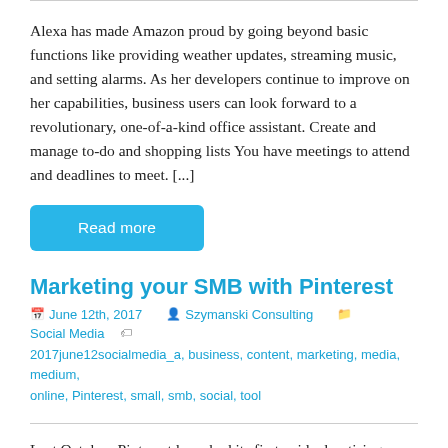Alexa has made Amazon proud by going beyond basic functions like providing weather updates, streaming music, and setting alarms. As her developers continue to improve on her capabilities, business users can look forward to a revolutionary, one-of-a-kind office assistant. Create and manage to-do and shopping lists You have meetings to attend and deadlines to meet. [...]
Read more
Marketing your SMB with Pinterest
June 12th, 2017   Szymanski Consulting   Social Media   2017june12socialmedia_a, business, content, marketing, media, medium, online, Pinterest, small, smb, social, tool
Last October, Pinterest launched its first paid advertising